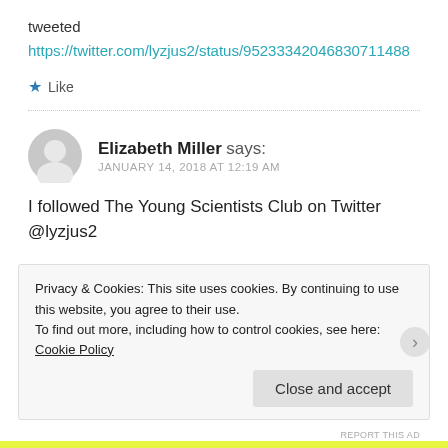tweeted
https://twitter.com/lyzjus2/status/952333420468307 1488
★ Like
Elizabeth Miller says:
JANUARY 14, 2018 AT 12:19 AM
I followed The Young Scientists Club on Twitter
@lyzjus2
Privacy & Cookies: This site uses cookies. By continuing to use this website, you agree to their use.
To find out more, including how to control cookies, see here: Cookie Policy
Close and accept